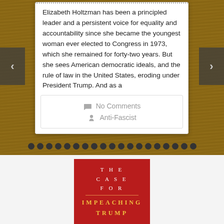Elizabeth Holtzman has been a principled leader and a persistent voice for equality and accountability since she became the youngest woman ever elected to Congress in 1973, which she remained for forty-two years. But she sees American democratic ideals, and the rule of law in the United States, eroding under President Trump. And as a
No Comments
Anti-Fascist
[Figure (photo): Book cover for 'The Case for Impeaching Trump' with red background, white title text and gold subtitle text]